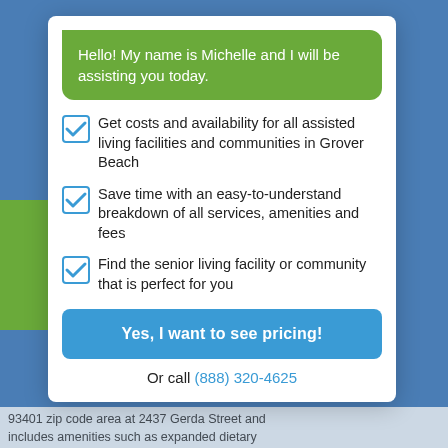Hello! My name is Michelle and I will be assisting you today.
Get costs and availability for all assisted living facilities and communities in Grover Beach
Save time with an easy-to-understand breakdown of all services, amenities and fees
Find the senior living facility or community that is perfect for you
Yes, I want to see pricing!
Or call (888) 320-4625
93401 zip code area at 2437 Gerda Street and includes amenities such as expanded dietary